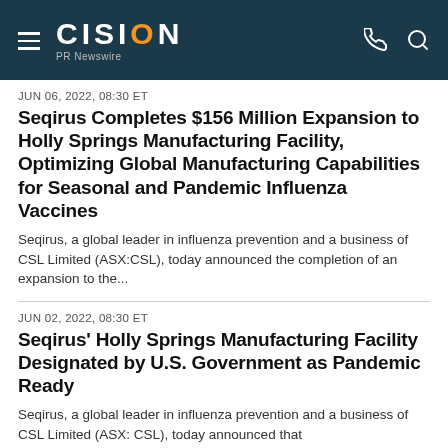CISION PR Newswire
JUN 06, 2022, 08:30 ET
Seqirus Completes $156 Million Expansion to Holly Springs Manufacturing Facility, Optimizing Global Manufacturing Capabilities for Seasonal and Pandemic Influenza Vaccines
Seqirus, a global leader in influenza prevention and a business of CSL Limited (ASX:CSL), today announced the completion of an expansion to the...
JUN 02, 2022, 08:30 ET
Seqirus' Holly Springs Manufacturing Facility Designated by U.S. Government as Pandemic Ready
Seqirus, a global leader in influenza prevention and a business of CSL Limited (ASX: CSL), today announced that